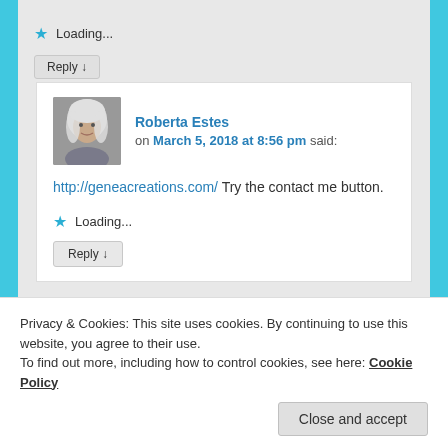★ Loading...
Reply ↓
Roberta Estes on March 5, 2018 at 8:56 pm said:
http://geneacreations.com/ Try the contact me button.
★ Loading...
Reply ↓
Privacy & Cookies: This site uses cookies. By continuing to use this website, you agree to their use. To find out more, including how to control cookies, see here: Cookie Policy
Close and accept